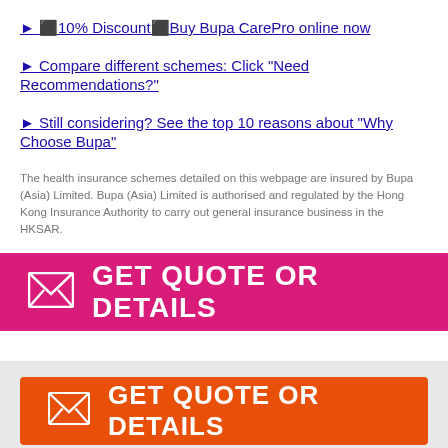► ⬛10% Discount⬛Buy Bupa CarePro online now
► Compare different schemes: Click "Need Recommendations?"
► Still considering? See the top 10 reasons about "Why Choose Bupa"
The health insurance schemes detailed on this webpage are insured by Bupa (Asia) Limited. Bupa (Asia) Limited is authorised and regulated by the Hong Kong Insurance Authority to carry out general insurance business in the HKSAR.
[Figure (infographic): Pink banner with envelope icon and text GET QUOTE OR DETAILS]
[Figure (infographic): Orange banner with envelope icon and text GET QUOTE OR DETAILS on gray background]